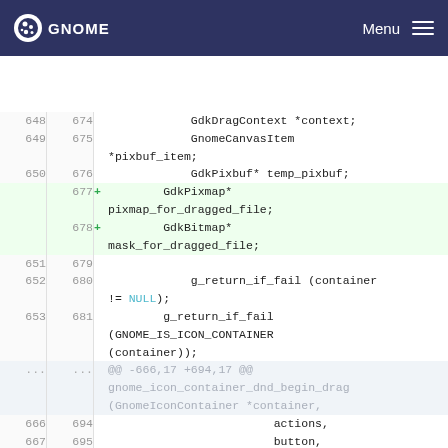GNOME   Menu
[Figure (screenshot): Code diff view showing additions of GdkPixmap* pixmap_for_dragged_file and GdkBitmap* mask_for_dragged_file variables in a GNOME source file, with surrounding context lines including GnomeCanvasItem *pixbuf_item, GdkPixbuf* temp_pixbuf, g_return_if_fail statements, and a hunk header @@ -666,17 +694,17 @@]